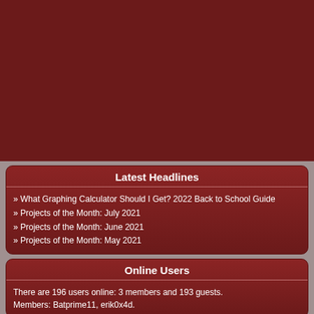[Figure (other): Dark red banner/advertisement area at top of page]
Latest Headlines
» What Graphing Calculator Should I Get? 2022 Back to School Guide
» Projects of the Month: July 2021
» Projects of the Month: June 2021
» Projects of the Month: May 2021
Online Users
There are 196 users online: 3 members and 193 guests.
Members: Batprime11, erik0x4d.
RSS & Social Media
Follow @cemetech
'Like' Cemetech
News Headlines
Latest Posts
Latest Uploads